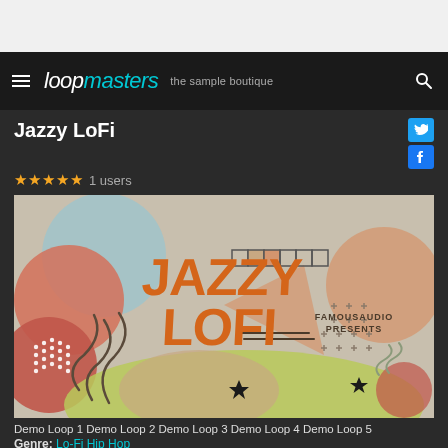Loopmasters — the sample boutique
Jazzy LoFi
★★★★★ 1 users
[Figure (illustration): Jazzy LoFi album art by Famous Audio — colorful abstract shapes including circles, triangles, wavy lines, black four-pointed stars, polka dots on a muted pastel background. Large orange bold text reads JAZZY LOFI with smaller text FAMOUSAUDIO PRESENTS below.]
Demo Loop 1 Demo Loop 2 Demo Loop 3 Demo Loop 4 Demo Loop 5
Genre: Lo-Fi Hip Hop